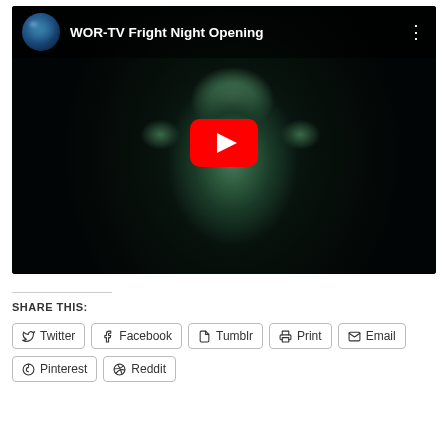[Figure (screenshot): YouTube video thumbnail for 'WOR-TV Fright Night Opening' showing a ghostly green face on a dark background with a red YouTube play button in the center. Top bar shows channel icon and video title.]
SHARE THIS:
Twitter
Facebook
Tumblr
Print
Email
Pinterest
Reddit